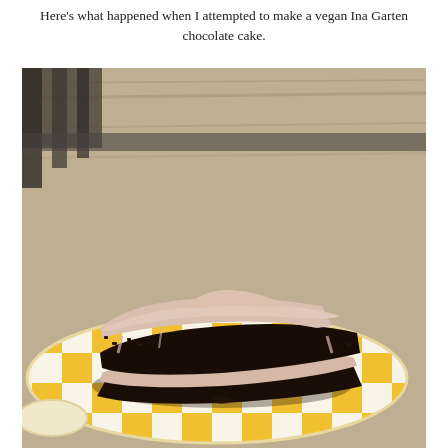Here's what happened when I attempted to make a vegan Ina Garten chocolate cake.
[Figure (photo): A slice of dark chocolate layer cake with light pinkish-white frosting on top and between layers, served on a yellow and white checkered plate, set on a weathered wood table outdoors.]